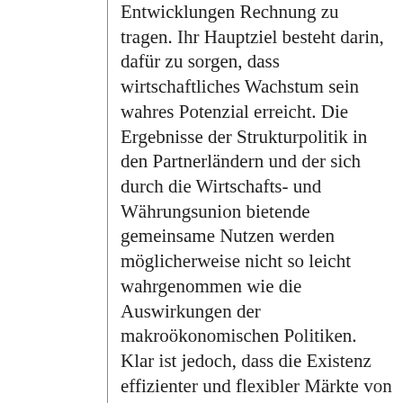Entwicklungen Rechnung zu tragen. Ihr Hauptziel besteht darin, dafür zu sorgen, dass wirtschaftliches Wachstum sein wahres Potenzial erreicht. Die Ergebnisse der Strukturpolitik in den Partnerländern und der sich durch die Wirtschafts- und Währungsunion bietende gemeinsame Nutzen werden möglicherweise nicht so leicht wahrgenommen wie die Auswirkungen der makroökonomischen Politiken. Klar ist jedoch, dass die Existenz effizienter und flexibler Märkte von entscheidender Bedeutung für die Erhöhung des Wachstumspotenzials und die Gewährleistung eines reibungslosen Funktionierens der Wirtschafts- und Währungsunion ist. Um Verwerfungen zu vermeiden und das reibungslose Funktionieren des Binnenmarktes